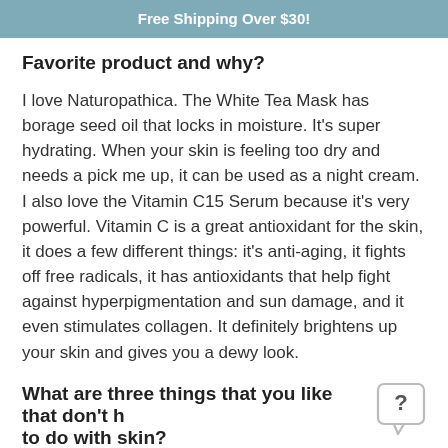Free Shipping Over $30!
Favorite product and why?
I love Naturopathica. The White Tea Mask has borage seed oil that locks in moisture. It's super hydrating. When your skin is feeling too dry and needs a pick me up, it can be used as a night cream. I also love the Vitamin C15 Serum because it's very powerful. Vitamin C is a great antioxidant for the skin, it does a few different things: it's anti-aging, it fights off free radicals, it has antioxidants that help fight against hyperpigmentation and sun damage, and it even stimulates collagen. It definitely brightens up your skin and gives you a dewy look.
What are three things that you like that don't have to do with skin?